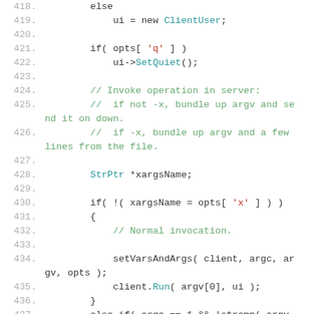[Figure (screenshot): Source code listing showing lines 418-438 of a C++ program. Lines show else branch setting ui to new ClientUser, conditional setting quiet mode, comments about invoking server operation, StrPtr declaration, conditional checks for xargs, setVarsAndArgs call, client.Run call, and else-if branch checking argc and strcmp.]